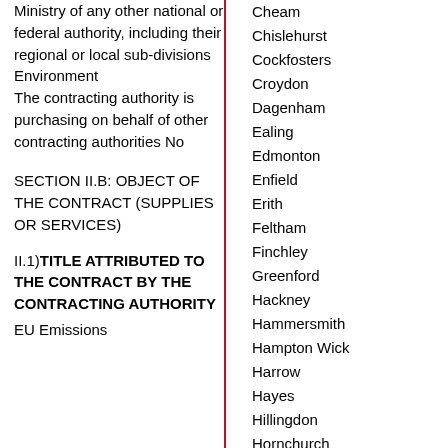Ministry of any other national or federal authority, including their regional or local sub-divisions
Environment
The contracting authority is purchasing on behalf of other contracting authorities No
SECTION II.B: OBJECT OF THE CONTRACT (SUPPLIES OR SERVICES)
II.1)TITLE ATTRIBUTED TO THE CONTRACT BY THE CONTRACTING AUTHORITY
EU Emissions
Cheam
Chislehurst
Cockfosters
Croydon
Dagenham
Ealing
Edmonton
Enfield
Erith
Feltham
Finchley
Greenford
Hackney
Hammersmith
Hampton Wick
Harrow
Hayes
Hillingdon
Hornchurch
Hounslow
Ilford
Isleworth
Islington
Kingston upon Thames
London